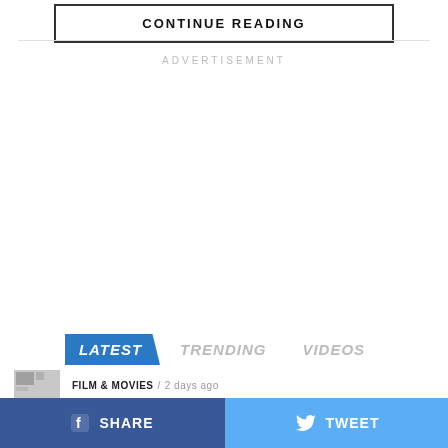CONTINUE READING
ADVERTISEMENT
LATEST  TRENDING  VIDEOS
FILM & MOVIES / 2 days ago
SHARE  TWEET  ...